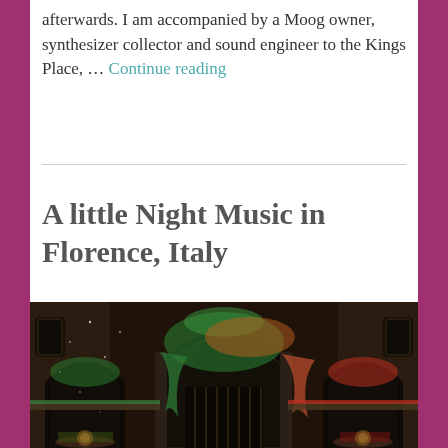afterwards. I am accompanied by a Moog owner, synthesizer collector and sound engineer to the Kings Place, … Continue reading
A little Night Music in Florence, Italy
[Figure (photo): Interior of a church or hall in Florence, Italy, with dramatic arches lit in green and orange/red lighting, decorative columns and architectural details visible.]